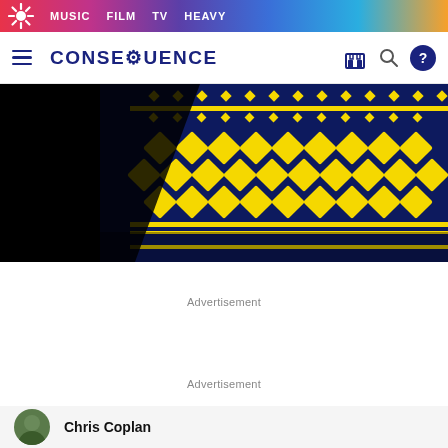MUSIC  FILM  TV  HEAVY
CONSEQUENCE
[Figure (photo): Close-up of a navy blue and yellow patterned knit sweater with diamond and stripe motifs on a black background]
Advertisement
Advertisement
Chris Coplan